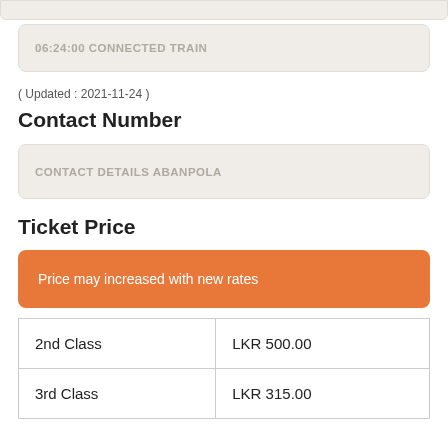06:24:00 CONNECTED TRAIN
( Updated : 2021-11-24 )
Contact Number
CONTACT DETAILS ABANPOLA
Ticket Price
Price may increased with new rates
|  |  |
| --- | --- |
| 2nd Class | LKR 500.00 |
| 3rd Class | LKR 315.00 |